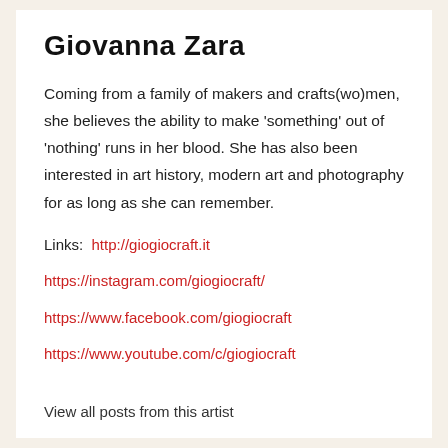Giovanna Zara
Coming from a family of makers and crafts(wo)men, she believes the ability to make ‘something’ out of ‘nothing’ runs in her blood. She has also been interested in art history, modern art and photography for as long as she can remember.
Links:  http://giogiocraft.it
https://instagram.com/giogiocraft/
https://www.facebook.com/giogiocraft
https://www.youtube.com/c/giogiocraft
View all posts from this artist